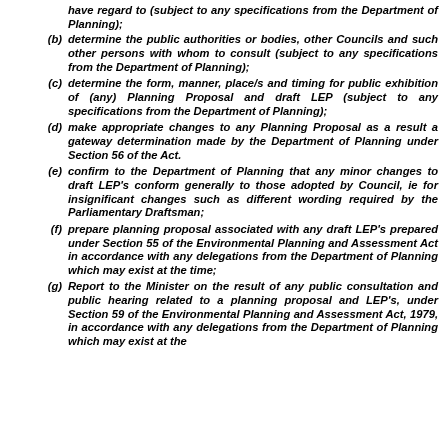(b) determine the public authorities or bodies, other Councils and such other persons with whom to consult (subject to any specifications from the Department of Planning);
(c) determine the form, manner, place/s and timing for public exhibition of (any) Planning Proposal and draft LEP (subject to any specifications from the Department of Planning);
(d) make appropriate changes to any Planning Proposal as a result a gateway determination made by the Department of Planning under Section 56 of the Act.
(e) confirm to the Department of Planning that any minor changes to draft LEP's conform generally to those adopted by Council, ie for insignificant changes such as different wording required by the Parliamentary Draftsman;
(f) prepare planning proposal associated with any draft LEP's prepared under Section 55 of the Environmental Planning and Assessment Act in accordance with any delegations from the Department of Planning which may exist at the time;
(g) Report to the Minister on the result of any public consultation and public hearing related to a planning proposal and LEP's, under Section 59 of the Environmental Planning and Assessment Act, 1979, in accordance with any delegations from the Department of Planning which may exist at the